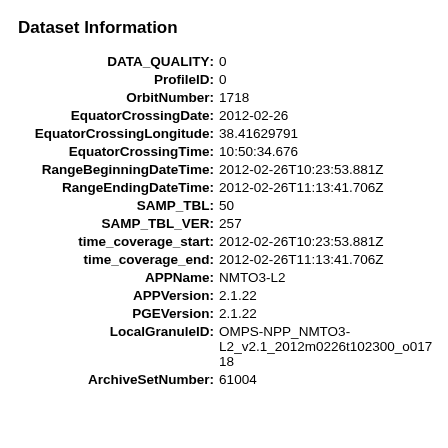Dataset Information
DATA_QUALITY: 0
ProfileID: 0
OrbitNumber: 1718
EquatorCrossingDate: 2012-02-26
EquatorCrossingLongitude: 38.41629791
EquatorCrossingTime: 10:50:34.676
RangeBeginningDateTime: 2012-02-26T10:23:53.881Z
RangeEndingDateTime: 2012-02-26T11:13:41.706Z
SAMP_TBL: 50
SAMP_TBL_VER: 257
time_coverage_start: 2012-02-26T10:23:53.881Z
time_coverage_end: 2012-02-26T11:13:41.706Z
APPName: NMTO3-L2
APPVersion: 2.1.22
PGEVersion: 2.1.22
LocalGranuleID: OMPS-NPP_NMTO3-L2_v2.1_2012m0226t102300_o01718
ArchiveSetNumber: 61004